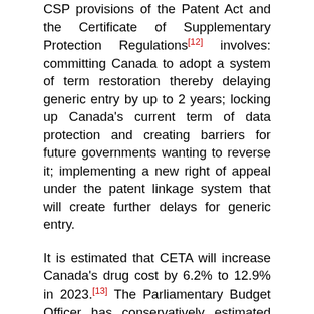CSP provisions of the Patent Act and the Certificate of Supplementary Protection Regulations[12] involves: committing Canada to adopt a system of term restoration thereby delaying generic entry by up to 2 years; locking up Canada's current term of data protection and creating barriers for future governments wanting to reverse it; implementing a new right of appeal under the patent linkage system that will create further delays for generic entry.
It is estimated that CETA will increase Canada's drug cost by 6.2% to 12.9% in 2023.[13] The Parliamentary Budget Officer has conservatively estimated that the two-year patent term extension included in CETA will cost Canadians more $500 million annually.[14]
Thus, emerging States are urged to be more